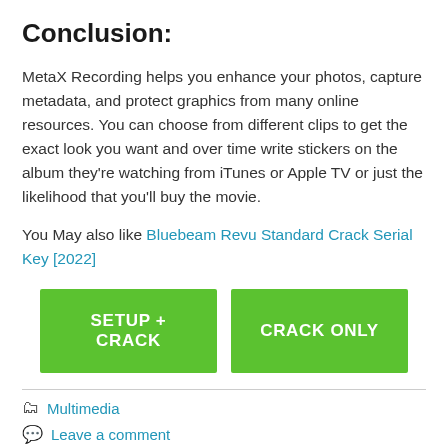Conclusion:
MetaX Recording helps you enhance your photos, capture metadata, and protect graphics from many online resources. You can choose from different clips to get the exact look you want and over time write stickers on the album they're watching from iTunes or Apple TV or just the likelihood that you'll buy the movie.
You May also like Bluebeam Revu Standard Crack Serial Key [2022]
[Figure (other): Two green buttons side by side: 'SETUP + CRACK' and 'CRACK ONLY']
Multimedia
Leave a comment